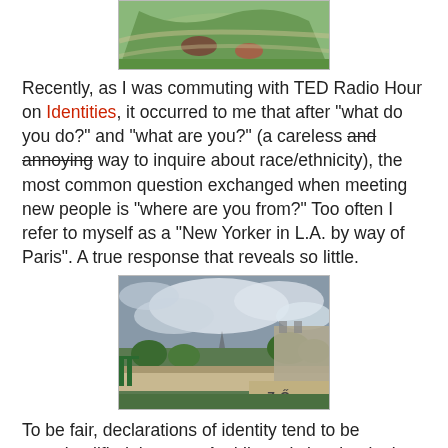[Figure (photo): Top portion of a garden/park photo with green lawn and flower beds, partially cropped at top]
Recently, as I was commuting with TED Radio Hour on Identities, it occurred to me that after "what do you do?" and "what are you?" (a careless and annoying way to inquire about race/ethnicity), the most common question exchanged when meeting new people is "where are you from?" Too often I refer to myself as a "New Yorker in L.A. by way of Paris". A true response that reveals so little.
[Figure (photo): View from a terrace or elevated position overlooking Paris cityscape with trees, green railings, cloudy sky, and graffiti on a wall]
To be fair, declarations of identity tend to be oversimplified that way. And I'm only just beginning to understand the nitty gritty of myself. Thus these thoughts with these photos.